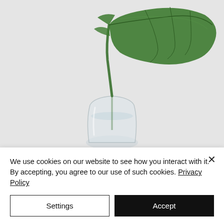[Figure (photo): A green monstera or philodendron leaf in a clear glass vase with water, photographed against a light gray background. The stem and leaf extend upward and to the right.]
We use cookies on our website to see how you interact with it. By accepting, you agree to our use of such cookies. Privacy Policy
Settings
Accept